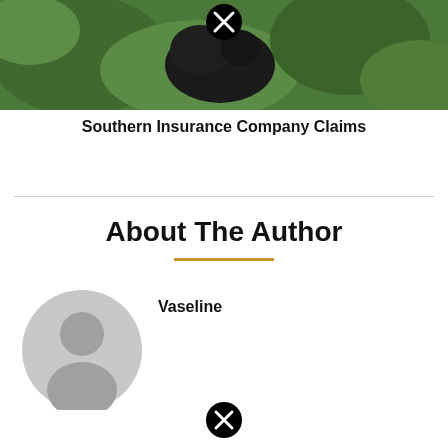[Figure (photo): Partial image of a dark animal (possibly a bear) in green vegetation/grass, with a black circle-X close button overlay at the top center.]
Southern Insurance Company Claims
About The Author
[Figure (photo): Generic grey user avatar/profile icon (circle silhouette of a person).]
Vaseline
[Figure (other): Black circle with X icon (close/delete button) at bottom center of page.]